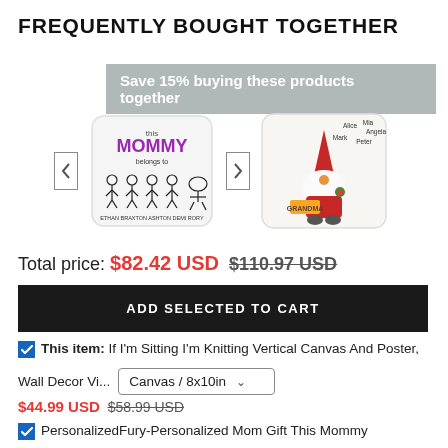FREQUENTLY BOUGHT TOGETHER
Save 15% buying these products together
[Figure (photo): Two decorative throw pillows side by side. Left pillow reads 'this MOMMY belongs to' with cartoon kids and names. Right pillow shows a Christmas gnome with names 'Alice, Mia, Angela, Mark, Peter' and a 'GRANDMA' sign.]
Total price: $82.42 USD  $110.97 USD
ADD SELECTED TO CART
This item: If I'm Sitting I'm Knitting Vertical Canvas And Poster, Wall Decor Vi...
Canvas / 8x10in
$44.99 USD  $58.99 USD
PersonalizedFury-Personalized Mom Gift This Mommy